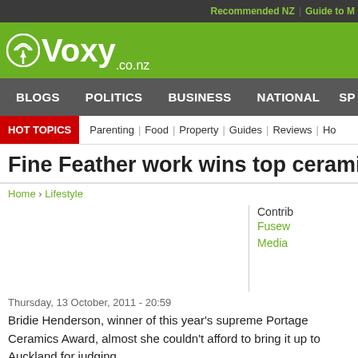Recommended NZ | Guide to M
[Figure (logo): Voxy.co.nz logo with radio wave icon on green background]
BLOGS   POLITICS   BUSINESS   NATIONAL   SP
HOT TOPICS  Parenting | Food | Property | Guides | Reviews | Ho
Fine Feather work wins top ceramic aw
Home › Lifestyle
Contrib
Fusew
Media
Thursday, 13 October, 2011 - 20:59
Bridie Henderson, winner of this year's supreme Portage Ceramics Award, almost she couldn't afford to bring it up to Auckland for judging.
The 25-year-old Nelson-based ceramics student is the youngest-ever recipient of ceramics prize, winning with 'Feathers'; an installation of three illuminated, encase